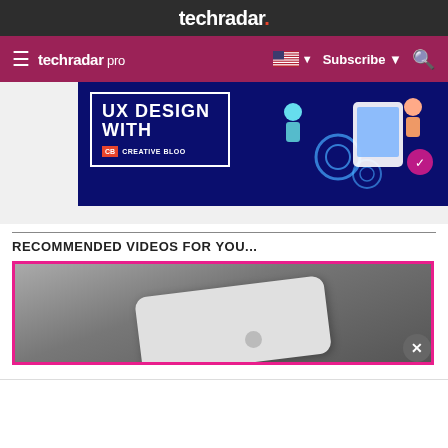techradar.
techradar pro  Subscribe
[Figure (screenshot): Advertisement banner for 'UX Design with Creative Bloo' course on a dark blue background with illustrated figures and gears]
RECOMMENDED VIDEOS FOR YOU...
[Figure (screenshot): Video thumbnail showing a white device (tablet/phone) on a dark background, with pink border around the thumbnail and a close (x) button overlay]
[Figure (screenshot): White advertisement overlay area at the bottom of the page]